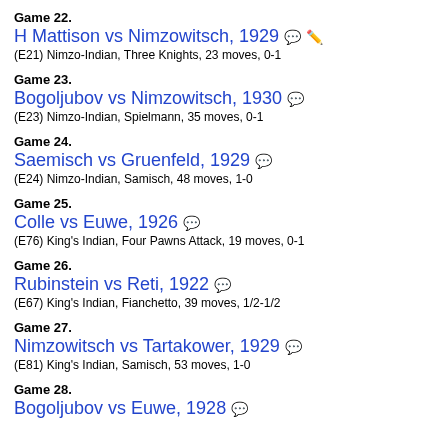Game 22. H Mattison vs Nimzowitsch, 1929 (E21) Nimzo-Indian, Three Knights, 23 moves, 0-1
Game 23. Bogoljubov vs Nimzowitsch, 1930 (E23) Nimzo-Indian, Spielmann, 35 moves, 0-1
Game 24. Saemisch vs Gruenfeld, 1929 (E24) Nimzo-Indian, Samisch, 48 moves, 1-0
Game 25. Colle vs Euwe, 1926 (E76) King's Indian, Four Pawns Attack, 19 moves, 0-1
Game 26. Rubinstein vs Reti, 1922 (E67) King's Indian, Fianchetto, 39 moves, 1/2-1/2
Game 27. Nimzowitsch vs Tartakower, 1929 (E81) King's Indian, Samisch, 53 moves, 1-0
Game 28. Bogoljubov vs Euwe, 1928